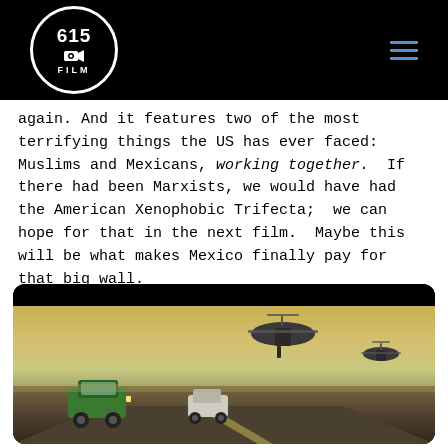[Figure (logo): 615 Film logo — white circle with '615', camera icon, and 'FILM' text on black header bar]
again. And it features two of the most terrifying things the US has ever faced:  Muslims and Mexicans, working together.  If there had been Marxists, we would have had the American Xenophobic Trifecta;  we can hope for that in the next film.  Maybe this will be what makes Mexico finally pay for that big wall.
[Figure (photo): Action scene showing a green car and a white car on a desert highway with military helicopters flying overhead in a yellowish sky]